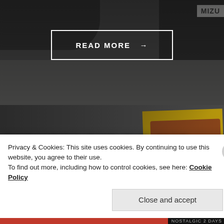[Figure (photo): Dark background showing car exhibition/show floor with vehicles visible, top half of page]
READ MORE →
[Figure (photo): Exhibition hall scene with people and a yellow magazine/poster visible on the right, bottom section background]
NOSTALGIC 2 DAYS 2020 – HISTORIC YOUTH PART 1
Privacy & Cookies: This site uses cookies. By continuing to use this website, you agree to their use.
To find out more, including how to control cookies, see here: Cookie Policy
Close and accept